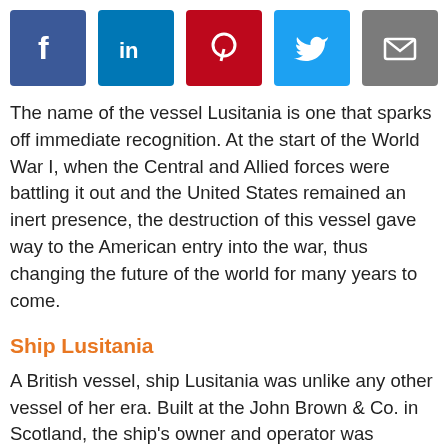[Figure (other): Social sharing icons row: Facebook (blue), LinkedIn (blue), Pinterest (red), Twitter (light blue), Email (grey), WhatsApp (green)]
The name of the vessel Lusitania is one that sparks off immediate recognition. At the start of the World War I, when the Central and Allied forces were battling it out and the United States remained an inert presence, the destruction of this vessel gave way to the American entry into the war, thus changing the future of the world for many years to come.
Ship Lusitania
A British vessel, ship Lusitania was unlike any other vessel of her era. Built at the John Brown & Co. in Scotland, the ship's owner and operator was